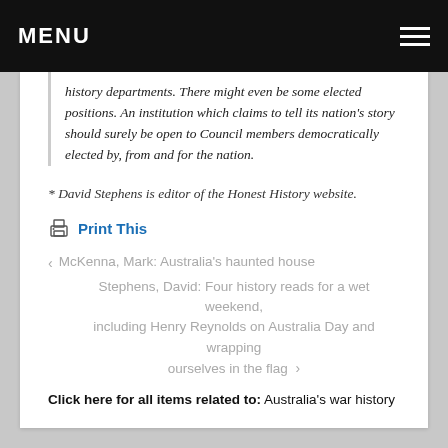MENU
history departments. There might even be some elected positions. An institution which claims to tell its nation's story should surely be open to Council members democratically elected by, from and for the nation.
* David Stephens is editor of the Honest History website.
Print This
McKenna, Mark: Australia's haunted house
Stephens, David: Four history reads for a wet weekend, including Henry Reynolds on Australia Day and wrapping ourselves in the flag
Click here for all items related to: Australia's war history
To comment or discuss, Log in to Honest History.